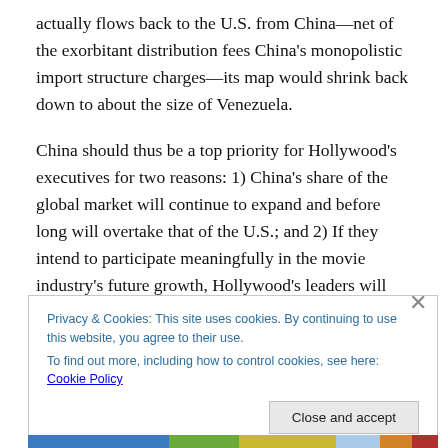actually flows back to the U.S. from China—net of the exorbitant distribution fees China's monopolistic import structure charges—its map would shrink back down to about the size of Venezuela.
China should thus be a top priority for Hollywood's executives for two reasons: 1) China's share of the global market will continue to expand and before long will overtake that of the U.S.; and 2) If they intend to participate meaningfully in the movie industry's future growth, Hollywood's leaders will need to find ways to
Privacy & Cookies: This site uses cookies. By continuing to use this website, you agree to their use.
To find out more, including how to control cookies, see here: Cookie Policy